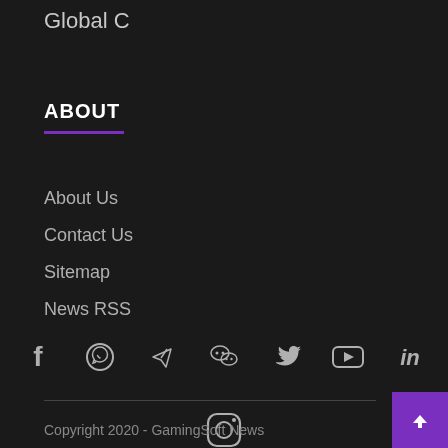Global C
ABOUT
About Us
Contact Us
Sitemap
News RSS
[Figure (infographic): Row of social media icons: Facebook, WhatsApp, Telegram, WeChat, Twitter, YouTube, LinkedIn]
[Figure (infographic): Instagram icon centered below first row]
Copyright 2020 - GamingSoft News